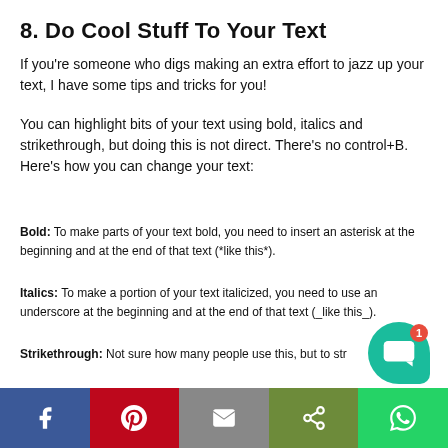8. Do Cool Stuff To Your Text
If you're someone who digs making an extra effort to jazz up your text, I have some tips and tricks for you!
You can highlight bits of your text using bold, italics and strikethrough, but doing this is not direct. There's no control+B. Here's how you can change your text:
Bold: To make parts of your text bold, you need to insert an asterisk at the beginning and at the end of that text (*like this*).
Italics: To make a portion of your text italicized, you need to use an underscore at the beginning and at the end of that text (_like this_).
Strikethrough: Not sure how many people use this, but to str...h